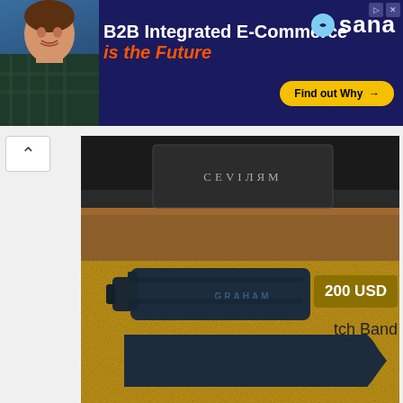[Figure (photo): Advertisement banner: B2B Integrated E-Commerce is the Future - Sana Commerce. Dark navy background with man in plaid shirt, orange subheadline, yellow Find out Why button.]
[Figure (photo): Product photo of a dark navy/blue Graham rubber watch strap/band on a gold/brown textured background. Two pieces of the strap are shown.]
200 USD
tch Band